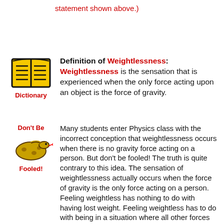statement shown above.)
[Figure (illustration): Open book icon (yellow pages, black border) with label 'Dictionary' in red below]
Definition of Weightlessness: Weightlessness is the sensation that is experienced when the only force acting upon an object is the force of gravity.
[Figure (illustration): Snake illustration with 'Don't Be' label in red above and 'Fooled!' in red below]
Many students enter Physics class with the incorrect conception that weightlessness occurs when there is no gravity force acting on a person. But don't be fooled! The truth is quite contrary to this idea. The sensation of weightlessness actually occurs when the force of gravity is the only force acting on a person. Feeling weightless has nothing to do with having lost weight. Feeling weightless has to do with being in a situation where all other forces besides one's weight have been removed. See the Think About It section for more details.